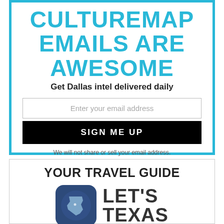CULTUREMAP EMAILS ARE AWESOME
Get Dallas intel delivered daily
Enter your email address
SIGN ME UP
We will not share or sell your email address.
YOUR TRAVEL GUIDE
[Figure (logo): Let's Texas logo: dark blue rounded square with Texas state outline icon, followed by bold text LET'S TEXAS]